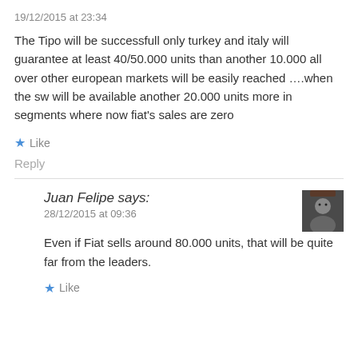19/12/2015 at 23:34
The Tipo will be successfull only turkey and italy will guarantee at least 40/50.000 units than another 10.000 all over other european markets will be easily reached ....when the sw will be available another 20.000 units more in segments where now fiat's sales are zero
Like
Reply
Juan Felipe says:
28/12/2015 at 09:36
Even if Fiat sells around 80.000 units, that will be quite far from the leaders.
Like